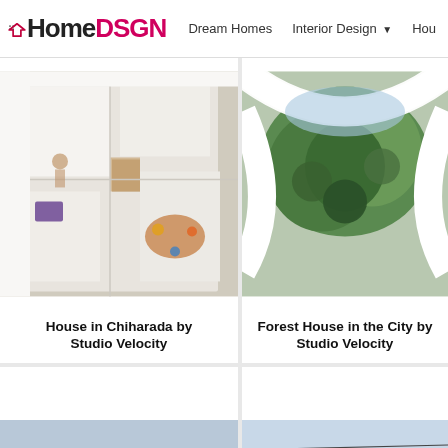HomeDSGN | Dream Homes | Interior Design | Hou...
[Figure (photo): Overhead aerial view of white geometric interior rooms with people visible, 'House in Chiharada by Studio Velocity']
House in Chiharada by Studio Velocity
[Figure (photo): Aerial view looking down through curved white architectural structure with green trees visible, 'Forest House in the City by Studio Velocity']
Forest House in the City by Studio Velocity
[Figure (photo): Low-angle exterior view of a modern house with trees silhouetted against sky]
[Figure (photo): Exterior of a gray concrete modern building with flat facade]